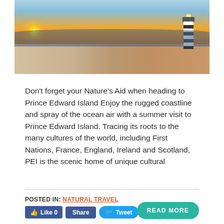[Figure (photo): Sunset beach scene with lighthouse on the right, orange and golden sky, ocean waves, and sandy shoreline]
Don’t forget your Nature’s Aid when heading to Prince Edward Island Enjoy the rugged coastline and spray of the ocean air with a summer visit to Prince Edward Island. Tracing its roots to the many cultures of the world, including First Nations, France, England, Ireland and Scotland, PEI is the scenic home of unique cultural
POSTED IN: NATURAL TRAVEL
Like 0  Share  Tweet  READ MORE